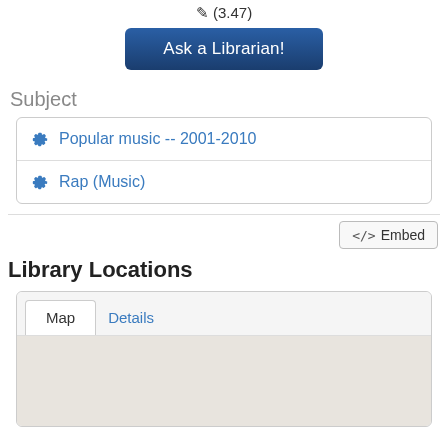(3.47)
Ask a Librarian!
Subject
Popular music -- 2001-2010
Rap (Music)
</> Embed
Library Locations
[Figure (screenshot): Map/Details tab interface with a grey map placeholder area below the tabs]